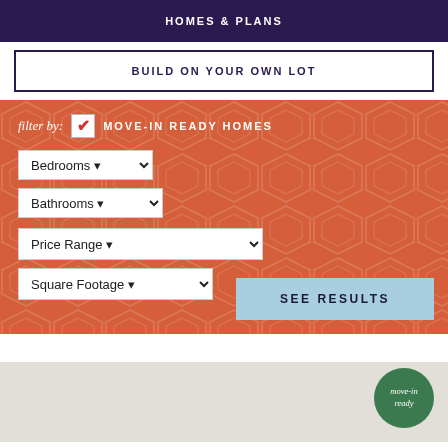HOMES & PLANS
BUILD ON YOUR OWN LOT
[Figure (screenshot): Orange filter section with geometric pattern background, filter by label with checked checkbox and MOVE-IN READY HOMES text, Bedrooms dropdown, Bathrooms dropdown, Price Range dropdown, Square Footage dropdown, and SEE RESULTS button]
[Figure (other): Move-in ready green circular badge with italic text]